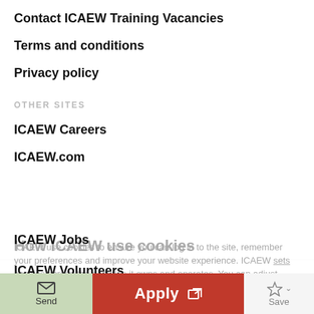Contact ICAEW Training Vacancies
Terms and conditions
Privacy policy
OTHER SITES
ICAEW Careers
ICAEW.com
ICAEW Jobs
ICAEW Volunteers
How ICAEW use cookies ICAEW use cookies to ensure you can log in to the site, remember your preferences and improve your website experience. ICAEW sets cookies across the domains it owns and operates. You can adjust these settings, otherwise we'll assume you're happy to continue.